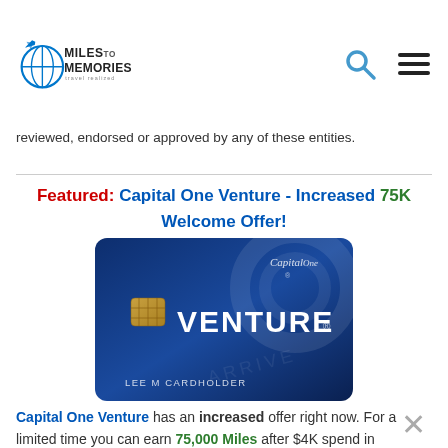Miles to Memories - travel realized
reviewed, endorsed or approved by any of these entities.
Featured: Capital One Venture - Increased 75K Welcome Offer!
[Figure (photo): Capital One Venture credit card (blue) with chip, showing LEE M CARDHOLDER on front]
Capital One Venture has an increased offer right now. For a limited time you can earn 75,000 Miles after $4K spend in the first 3 months of having the card. Venture earns 2X Miles on all purchases plus 5X with Capital One travel. Points can